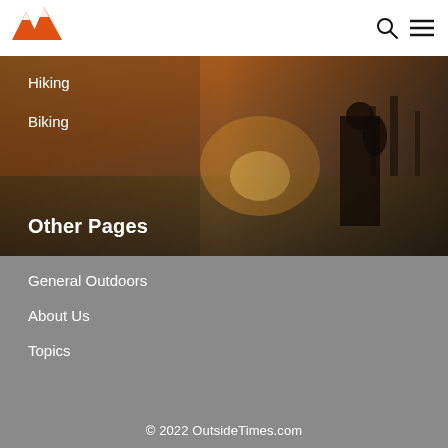[Figure (logo): OutsideTimes mountain logo in orange]
Hiking
Biking
Other Pages
[Figure (photo): Person with backpack standing in a golden field at sunset/sunrise with trees in background]
General Outdoors
About Us
Topics
© 2022 OutsideTimes.com